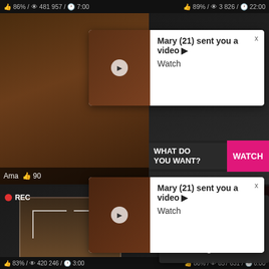👍 86% / 👁 481 957 / 🕐 7:00    👍 89% / 👁 3 826 / 🕐 22:00
[Figure (screenshot): Adult video thumbnail top left]
[Figure (screenshot): Adult video thumbnail top right]
[Figure (infographic): Popup notification: Mary (21) sent you a video ▶ Watch]
[Figure (infographic): Banner ad: WHAT DO YOU WANT? WATCH button]
[Figure (infographic): Second popup notification: Mary (21) sent you a video ▶ Watch]
Ama
90
Cumming, ass fucking, squirt or...
• ADS  ×
[Figure (screenshot): Bottom left adult video thumbnail with REC indicator and woman taking selfie]
[Figure (screenshot): Bottom right adult video thumbnail]
[Figure (infographic): Dating ad popup: ADS • ❤ Dating for men! Find bad girls here ❤]
Old man and wife
Hidden camera catches my
👍 83% / 👁 420 246 / 🕐 3:00    👍 86% / 👁 857 631 / 🕐 6:00